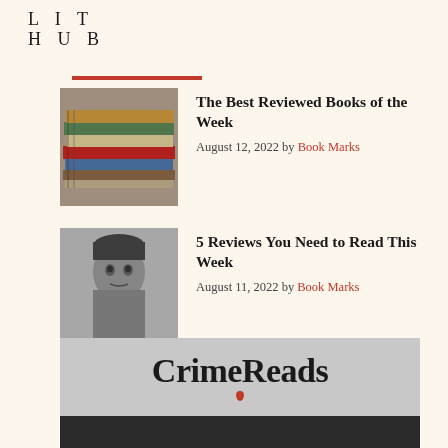LIT HUB
The Best Reviewed Books of the Week
August 12, 2022 by Book Marks
5 Reviews You Need to Read This Week
August 11, 2022 by Book Marks
The Best Reviewed Books of the Week
August 5, 2022 by Book Marks
[Figure (logo): CrimeReads logo on gray background with red drop below text, followed by dark gray bar]
[Figure (photo): Stack of colorful books seen from the side]
[Figure (photo): Black and white portrait of a man]
[Figure (illustration): Grid of dark squares in varying shades of gray and black]